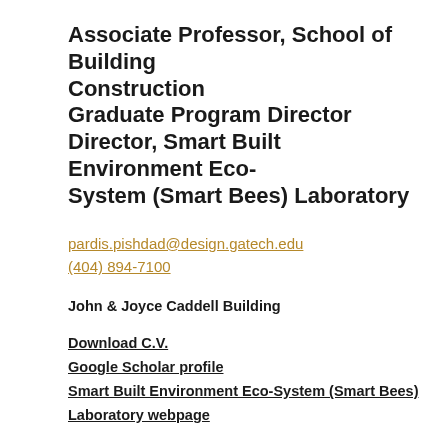Associate Professor, School of Building Construction
Graduate Program Director
Director, Smart Built Environment Eco-System (Smart Bees) Laboratory
pardis.pishdad@design.gatech.edu
(404) 894-7100
John & Joyce Caddell Building
Download C.V.
Google Scholar profile
Smart Built Environment Eco-System (Smart Bees) Laboratory webpage
Pardis Pishdad-Bozorgi is an associate professor in the School of Building Construction in Georgia